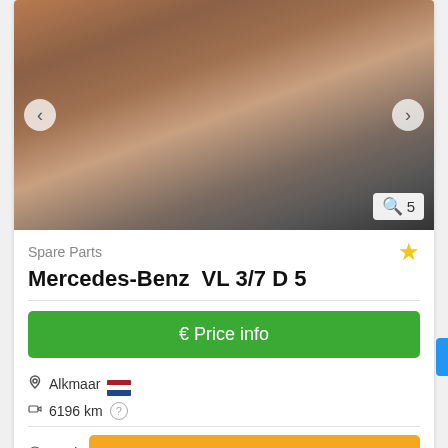[Figure (photo): Photo of a used Mercedes-Benz truck axle spare part lying on the ground, rusty metal components visible. Navigation arrows on left and right sides. Image count badge showing magnifier icon and 5.]
Spare Parts
Mercedes-Benz  VL 3/7 D 5
€ Price info
Alkmaar
6196 km
used
Save search query